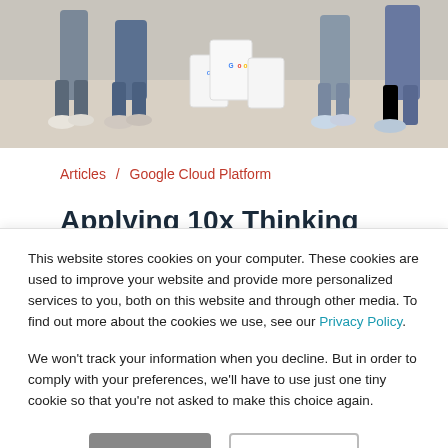[Figure (photo): Photo showing people's legs and Google-branded bags/boxes arranged on the floor, partial view of seated people]
Articles / Google Cloud Platform
Applying 10x Thinking to the Google
This website stores cookies on your computer. These cookies are used to improve your website and provide more personalized services to you, both on this website and through other media. To find out more about the cookies we use, see our Privacy Policy.
We won't track your information when you decline. But in order to comply with your preferences, we'll have to use just one tiny cookie so that you're not asked to make this choice again.